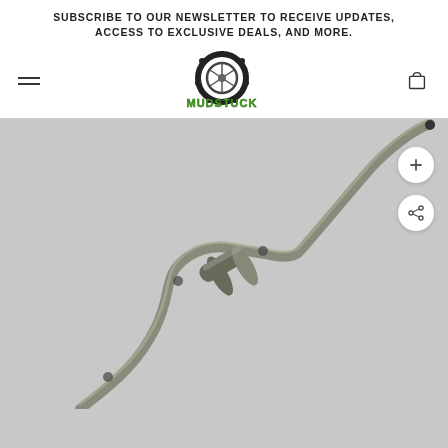SUBSCRIBE TO OUR NEWSLETTER TO RECEIVE UPDATES, ACCESS TO EXCLUSIVE DEALS, AND MORE.
[Figure (logo): Mudstuck off-road brand logo with tire graphic and green text]
[Figure (photo): Stainless steel exhaust system pipe with muffler on gray background, with zoom and share buttons overlay]